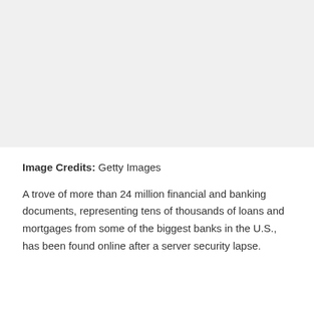[Figure (photo): Large gray placeholder image area occupying the top portion of the page.]
Image Credits: Getty Images
A trove of more than 24 million financial and banking documents, representing tens of thousands of loans and mortgages from some of the biggest banks in the U.S., has been found online after a server security lapse.